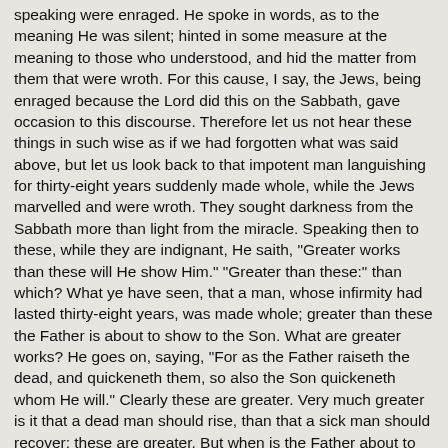speaking were enraged. He spoke in words, as to the meaning He was silent; hinted in some measure at the meaning to those who understood, and hid the matter from them that were wroth. For this cause, I say, the Jews, being enraged because the Lord did this on the Sabbath, gave occasion to this discourse. Therefore let us not hear these things in such wise as if we had forgotten what was said above, but let us look back to that impotent man languishing for thirty-eight years suddenly made whole, while the Jews marvelled and were wroth. They sought darkness from the Sabbath more than light from the miracle. Speaking then to these, while they are indignant, He saith, "Greater works than these will He show Him." "Greater than these:" than which? What ye have seen, that a man, whose infirmity had lasted thirty-eight years, was made whole; greater than these the Father is about to show to the Son. What are greater works? He goes on, saying, "For as the Father raiseth the dead, and quickeneth them, so also the Son quickeneth whom He will." Clearly these are greater. Very much greater is it that a dead man should rise, than that a sick man should recover: these are greater. But when is the Father about to show these to the Son? Does the Son not know them? And He who was speaking, did He not know how to raise the dead? Had He yet to learn how to raise the dead to life--He, I say, by whom all things were made? He who caused that we should live, when we were not in being, had He yet to learn how we might be raised to life again? What, then, do His words mean?
7. But now He condescends to us, and He who a little before was speaking as God, now begins to speak as man. Notwithstanding, the same is man who is God, for God was made man; but was made what He was not, without losing what He was. The man therefore was